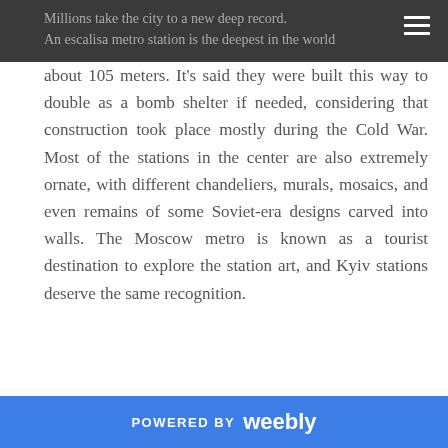Millions take the city to a new deep record. An escalisa metro station is the deepest in the world about 105 meters.
about 105 meters. It's said they were built this way to double as a bomb shelter if needed, considering that construction took place mostly during the Cold War. Most of the stations in the center are also extremely ornate, with different chandeliers, murals, mosaics, and even remains of some Soviet-era designs carved into walls. The Moscow metro is known as a tourist destination to explore the station art, and Kyiv stations deserve the same recognition.
[Figure (illustration): A light blue silhouette illustration of a face in profile, appearing to be a decorative or artistic image related to metro station art.]
POWERED BY weebly